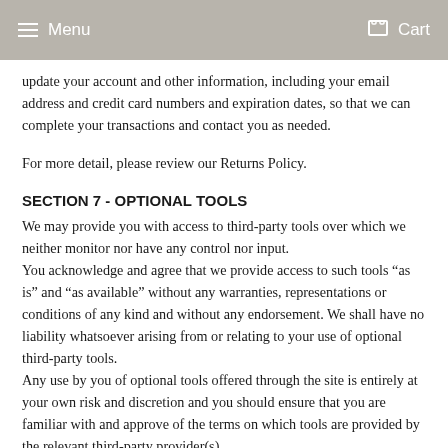Menu  Cart
update your account and other information, including your email address and credit card numbers and expiration dates, so that we can complete your transactions and contact you as needed.
For more detail, please review our Returns Policy.
SECTION 7 - OPTIONAL TOOLS
We may provide you with access to third-party tools over which we neither monitor nor have any control nor input.
You acknowledge and agree that we provide access to such tools “as is” and “as available” without any warranties, representations or conditions of any kind and without any endorsement. We shall have no liability whatsoever arising from or relating to your use of optional third-party tools.
Any use by you of optional tools offered through the site is entirely at your own risk and discretion and you should ensure that you are familiar with and approve of the terms on which tools are provided by the relevant third-party provider(s).